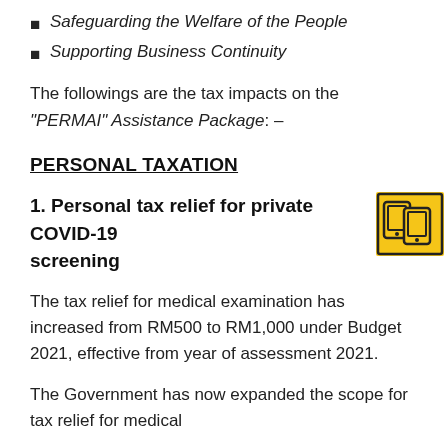Safeguarding the Welfare of the People
Supporting Business Continuity
The followings are the tax impacts on the "PERMAI" Assistance Package: –
PERSONAL TAXATION
1. Personal tax relief for private COVID-19 screening
[Figure (illustration): Yellow icon box showing two overlapping tablets/phones, representing digital/mobile devices, with black outline on yellow background.]
The tax relief for medical examination has increased from RM500 to RM1,000 under Budget 2021, effective from year of assessment 2021.
The Government has now expanded the scope for tax relief for medical